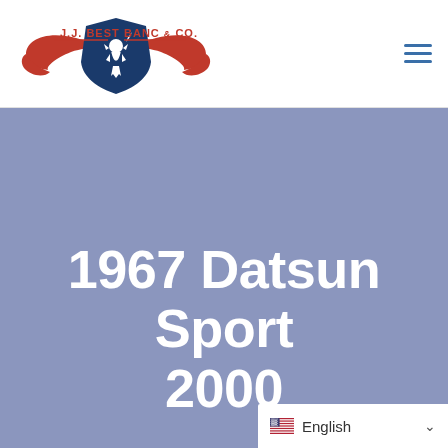[Figure (logo): J.J. Best Banc & Co. logo — red wings with blue shield containing a white lion rampant, text 'J.J. BEST BANC & CO.' in red and blue]
[Figure (other): Hamburger menu icon — three horizontal blue lines]
1967 Datsun Sport 2000
English